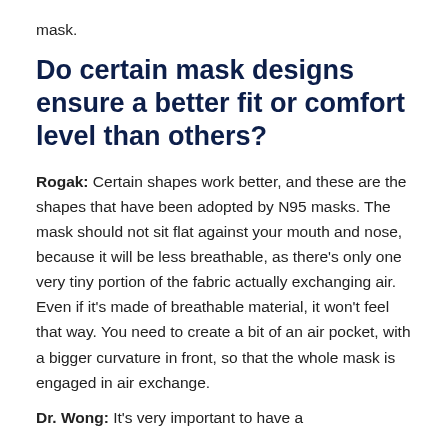mask.
Do certain mask designs ensure a better fit or comfort level than others?
Rogak: Certain shapes work better, and these are the shapes that have been adopted by N95 masks. The mask should not sit flat against your mouth and nose, because it will be less breathable, as there’s only one very tiny portion of the fabric actually exchanging air. Even if it’s made of breathable material, it won’t feel that way. You need to create a bit of an air pocket, with a bigger curvature in front, so that the whole mask is engaged in air exchange.
Dr. Wong: It’s very important to have a